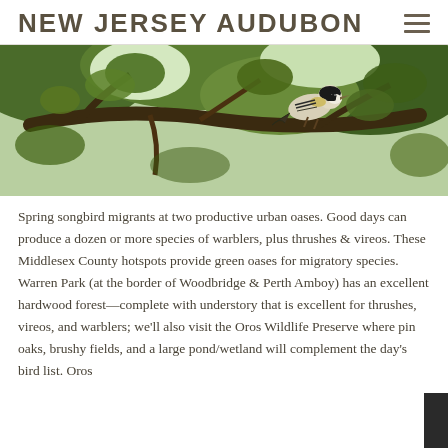NEW JERSEY AUDUBON
[Figure (photo): A small songbird (warbler) perched on a branch amid green leaves, viewed from below/side angle. Black and white striped plumage visible.]
Spring songbird migrants at two productive urban oases. Good days can produce a dozen or more species of warblers, plus thrushes & vireos. These Middlesex County hotspots provide green oases for migratory species. Warren Park (at the border of Woodbridge & Perth Amboy) has an excellent hardwood forest—complete with understory that is excellent for thrushes, vireos, and warblers; we'll also visit the Oros Wildlife Preserve where pin oaks, brushy fields, and a large pond/wetland will complement the day's bird list. Oros